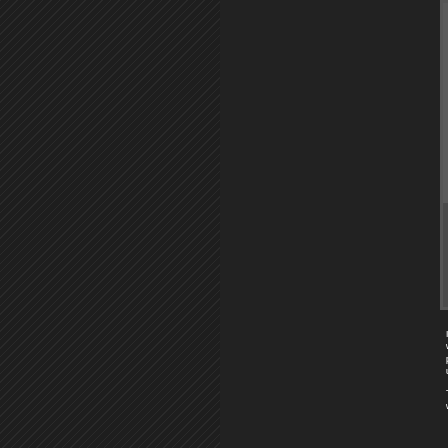[Figure (photo): A person in a gray hoodie and blue jeans with tan work boots standing near the back of a white pickup truck on an asphalt surface with fallen leaves visible.]
In addition to the tire being fixed, she has a new windscreen, a new battery, and a repaired gas tank. The plan had been to go for a ride on Sunday gas tank. A unexpected wintry mix nixed that.
This evening was beautiful. I got to watch the sunset on my way to the car.